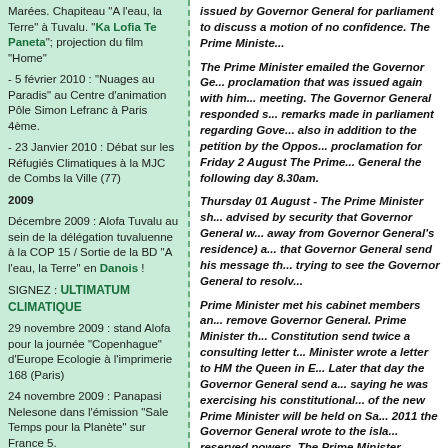Marées. Chapiteau "A l'eau, la Terre" à Tuvalu. "Ka Lofia Te Paneta"; projection du film "Home"
- 5 février 2010 : "Nuages au Paradis" au Centre d'animation Pôle Simon Lefranc à Paris 4ème.
- 23 Janvier 2010 : Débat sur les Réfugiés Climatiques à la MJC de Combs la Ville (77)
2009
Décembre 2009 : Alofa Tuvalu au sein de la délégation tuvaluenne à la COP 15 / Sortie de la BD "A l'eau, la Terre" en Danois !
SIGNEZ : ULTIMATUM CLIMATIQUE
29 novembre 2009 : stand Alofa pour la journée "Copenhague" d'Europe Ecologie à l'imprimerie 168 (Paris)
24 novembre 2009 : Panapasi Nelesone dans l'émission "Sale Temps pour la Planète" sur France 5.
17 novembre 2009 :
issued by Governor General for parliament to discuss a motion of no confidence. The Prime Ministe...
The Prime Minister emailed the Governor Ge... proclamation that was issued again with him... meeting. The Governor General responded s... remarks made in parliament regarding Gove... also in addition to the petition by the Oppos... proclamation for Friday 2 August The Prime... General the following day 8.30am.
Thursday 01 August - The Prime Minister sh... advised by security that Governor General w... away from Governor General's residence) a... that Governor General send his message th... trying to see the Governor General to resolv...
Prime Minister met his cabinet members an... remove Governor General. Prime Minister th... Constitution send twice a consulting letter t... Minister wrote a letter to HM the Queen in E... Later that day the Governor General send a... saying he was exercising his constitutional... of the new Prime Minister will be held on Sa... 2011 the Governor General wrote to the isla... reserved powers. The Prime Minister mainta... that he does not hold.
Section 51 (1) of the Constitution of Tuvalu r... the Head State are those prescribed as suc... Governor General's reserved powers.
Willy Telavi said that his removal as Prime M... parliament on Friday is a blessing by Almigh... their quality of leaderships. Mr Telavi's team... Natural Resources Isaia Taeia in 2011, the d... the prolong absent of Minster of Education i... this year.